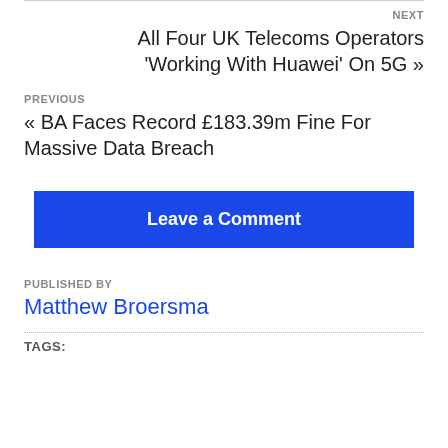NEXT
All Four UK Telecoms Operators 'Working With Huawei' On 5G »
PREVIOUS
« BA Faces Record £183.39m Fine For Massive Data Breach
Leave a Comment
PUBLISHED BY
Matthew Broersma
TAGS: